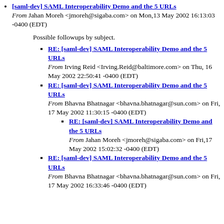[saml-dev] SAML Interoperability Demo and the 5 URLs — From Jahan Moreh <jmoreh@sigaba.com> on Mon,13 May 2002 16:13:03 -0400 (EDT)
Possible followups by subject.
RE: [saml-dev] SAML Interoperability Demo and the 5 URLs — From Irving Reid <Irving.Reid@baltimore.com> on Thu, 16 May 2002 22:50:41 -0400 (EDT)
RE: [saml-dev] SAML Interoperability Demo and the 5 URLs — From Bhavna Bhatnagar <bhavna.bhatnagar@sun.com> on Fri, 17 May 2002 11:30:15 -0400 (EDT)
RE: [saml-dev] SAML Interoperability Demo and the 5 URLs — From Jahan Moreh <jmoreh@sigaba.com> on Fri,17 May 2002 15:02:32 -0400 (EDT)
RE: [saml-dev] SAML Interoperability Demo and the 5 URLs — From Bhavna Bhatnagar <bhavna.bhatnagar@sun.com> on Fri, 17 May 2002 16:33:46 -0400 (EDT)